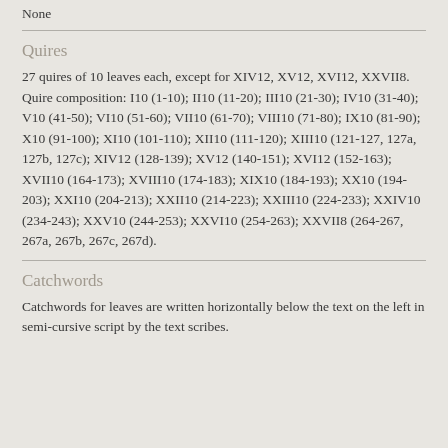None
Quires
27 quires of 10 leaves each, except for XIV12, XV12, XVI12, XXVII8. Quire composition: I10 (1-10); II10 (11-20); III10 (21-30); IV10 (31-40); V10 (41-50); VI10 (51-60); VII10 (61-70); VIII10 (71-80); IX10 (81-90); X10 (91-100); XI10 (101-110); XII10 (111-120); XIII10 (121-127, 127a, 127b, 127c); XIV12 (128-139); XV12 (140-151); XVI12 (152-163); XVII10 (164-173); XVIII10 (174-183); XIX10 (184-193); XX10 (194-203); XXI10 (204-213); XXII10 (214-223); XXIII10 (224-233); XXIV10 (234-243); XXV10 (244-253); XXVI10 (254-263); XXVII8 (264-267, 267a, 267b, 267c, 267d).
Catchwords
Catchwords for leaves are written horizontally below the text on the left in semi-cursive script by the text scribes.